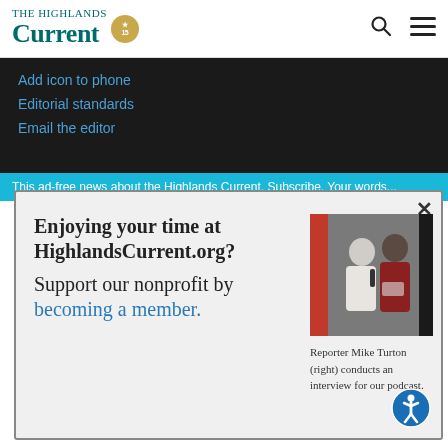The Highlands Current
Add icon to phone
Editorial standards
Email the editor
Enjoying your time at HighlandsCurrent.org? Support our nonprofit by becoming a member.
[Figure (photo): Reporter Mike Turton (right) conducts an interview for our podcast.]
Reporter Mike Turton (right) conducts an interview for our podcast.